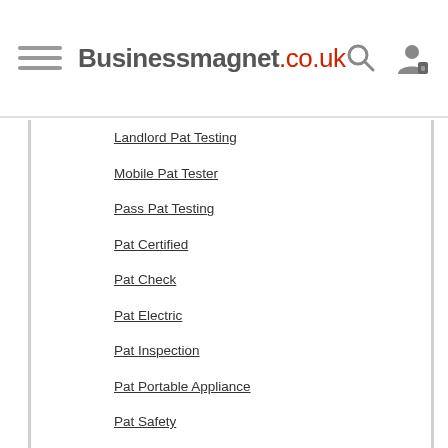Businessmagnet.co.uk
Landlord Pat Testing
Mobile Pat Tester
Pass Pat Testing
Pat Certified
Pat Check
Pat Electric
Pat Inspection
Pat Portable Appliance
Pat Safety
PAT Safety Tester
Pat Services
Pat Test
Pat Test Engineer
Pat Test Procedure
Pat Test Requirements
PAT Tester